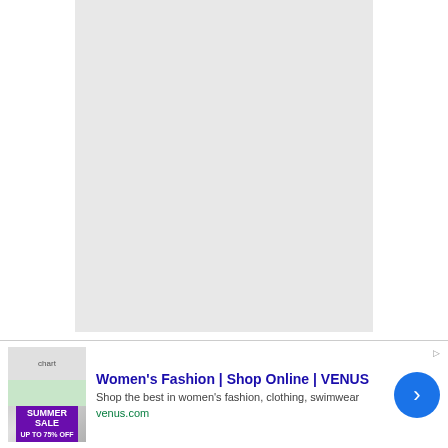[Figure (other): Large light gray rectangular placeholder image]
There’s not much in the way of concrete facts to
[Figure (other): Advertisement banner: Women's Fashion | Shop Online | VENUS. Shop the best in women's fashion, clothing, swimwear. venus.com]